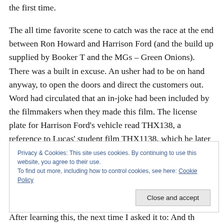the first time.
The all time favorite scene to catch was the race at the end between Ron Howard and Harrison Ford (and the build up supplied by Booker T and the MGs – Green Onions). There was a built in excuse. An usher had to be on hand anyway, to open the doors and direct the customers out. Word had circulated that an in-joke had been included by the filmmakers when they made this film. The license plate for Harrison Ford's vehicle read THX138, a reference to Lucas' student film THX1138. which he later
Privacy & Cookies: This site uses cookies. By continuing to use this website, you agree to their use.
To find out more, including how to control cookies, see here: Cookie Policy
Close and accept
After learning this, the next time I asked it to: And th...